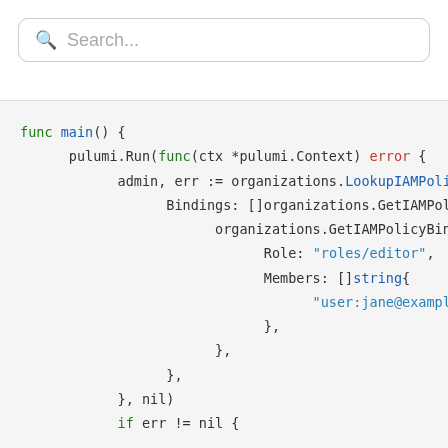[Figure (screenshot): Search bar with magnifying glass icon and placeholder text 'Search...']